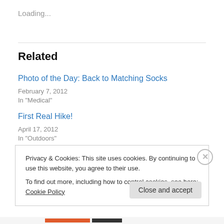Loading...
Related
Photo of the Day: Back to Matching Socks
February 7, 2012
In "Medical"
First Real Hike!
April 17, 2012
In "Outdoors"
Privacy & Cookies: This site uses cookies. By continuing to use this website, you agree to their use.
To find out more, including how to control cookies, see here: Cookie Policy
Close and accept